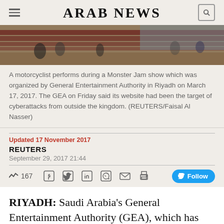ARAB NEWS
[Figure (photo): Indoor arena seating with red seats, people in background, Monster Jam show at General Entertainment Authority event in Riyadh]
A motorcyclist performs during a Monster Jam show which was organized by General Entertainment Authority in Riyadh on March 17, 2017. The GEA on Friday said its website had been the target of cyberattacks from outside the kingdom. (REUTERS/Faisal Al Nasser)
Updated 17 November 2017
REUTERS
September 29, 2017 21:44
RIYADH: Saudi Arabia's General Entertainment Authority (GEA), which has begun sponsoring concerts and shows said on Friday its website had been the target of cyberattacks from outside the